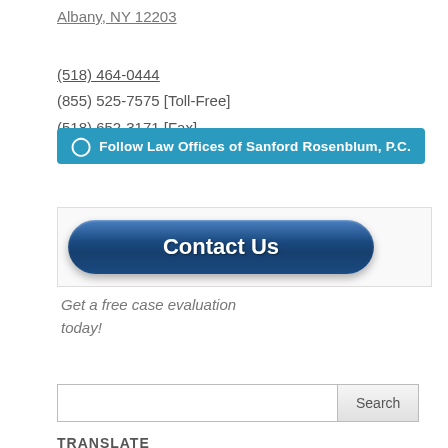Albany, NY 12203
(518) 464-0444
(855) 525-7575 [Toll-Free]
(518) 652-3171 [Fax]
[Figure (other): WordPress Follow button: Follow Law Offices of Sanford Rosenblum, P.C.]
[Figure (other): Blue rounded Contact Us button]
Get a free case evaluation today!
[Figure (other): Search input field with Search button]
TRANSLATE